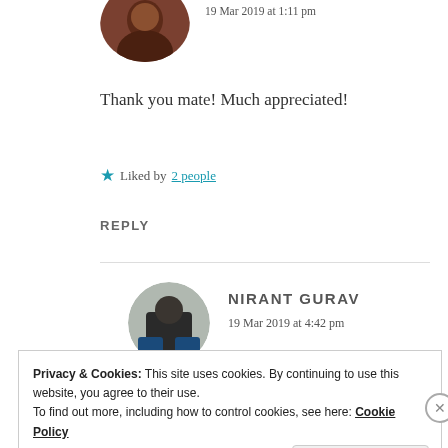[Figure (photo): Circular avatar photo of a person, partially cropped at top, with reddish-brown tones]
19 Mar 2019 at 1:11 pm
Thank you mate! Much appreciated!
★ Liked by 2 people
REPLY
[Figure (photo): Circular avatar photo of Nirant Gurav, person in dark clothing sitting/crouching against a wall]
NIRANT GURAV
19 Mar 2019 at 4:42 pm
Privacy & Cookies: This site uses cookies. By continuing to use this website, you agree to their use.
To find out more, including how to control cookies, see here: Cookie Policy
Close and accept